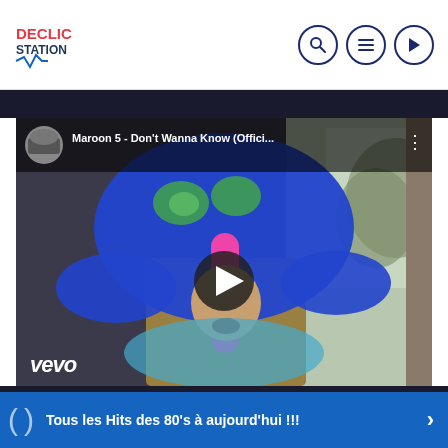DECLIC STATION
[Figure (screenshot): YouTube video embed showing Maroon 5 - Don't Wanna Know (Official Video) with Vevo watermark. Play button visible in center. Shows man in colorful costume.]
THE GAME OF LIFE
Tous les Hits des 80's à aujourd'hui !!!